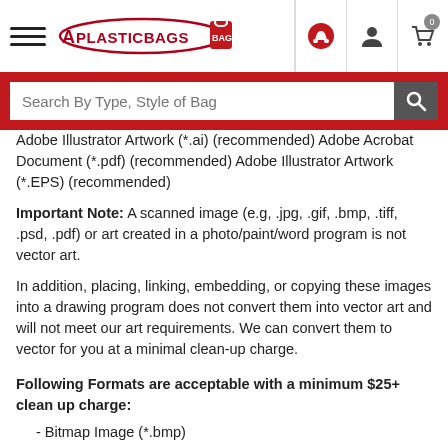[Figure (screenshot): Website header with hamburger menu, APlasticBags logo, phone icon, user icon, and cart icon with 0 badge]
[Figure (screenshot): Red search bar with placeholder text 'Search By Type, Style of Bag' and a dark search button with magnifier icon]
Adobe Illustrator Artwork (*.ai) (recommended) Adobe Acrobat Document (*.pdf) (recommended) Adobe Illustrator Artwork (*.EPS) (recommended)
Important Note: A scanned image (e.g, .jpg, .gif, .bmp, .tiff, .psd, .pdf) or art created in a photo/paint/word program is not vector art.
In addition, placing, linking, embedding, or copying these images into a drawing program does not convert them into vector art and will not meet our art requirements. We can convert them to vector for you at a minimal clean-up charge.
Following Formats are acceptable with a minimum $25+ clean up charge:
- Bitmap Image (*.bmp)
- GIF Image (*.gif)
- JPEG Image (*.jpg,*.jpeg)